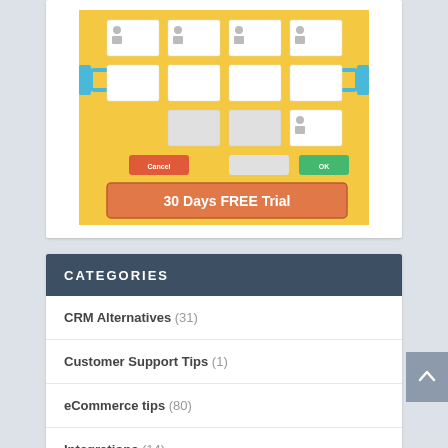[Figure (screenshot): Infographic screenshot showing a project management or CRM interface layout in yellow background with blue connectors and a '30 Days FREE Trial' orange button at the bottom]
CATEGORIES
CRM Alternatives (31)
Customer Support Tips (1)
eCommerce tips (80)
Integrations (14)
Marketing Tips (20)